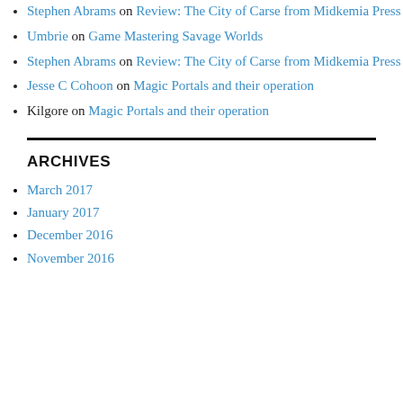Stephen Abrams on Review: The City of Carse from Midkemia Press
Umbrie on Game Mastering Savage Worlds
Stephen Abrams on Review: The City of Carse from Midkemia Press
Jesse C Cohoon on Magic Portals and their operation
Kilgore on Magic Portals and their operation
ARCHIVES
March 2017
January 2017
December 2016
November 2016